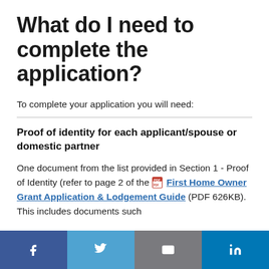What do I need to complete the application?
To complete your application you will need:
Proof of identity for each applicant/spouse or domestic partner
One document from the list provided in Section 1 - Proof of Identity (refer to page 2 of the First Home Owner Grant Application & Lodgement Guide (PDF 626KB). This includes documents such
Social share bar: Facebook, Twitter, Email, LinkedIn